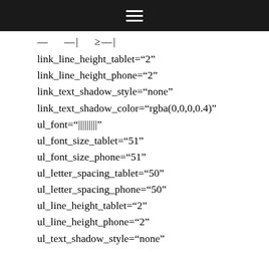☰
— —| ≥—|
link_line_height_tablet="2"
link_line_height_phone="2"
link_text_shadow_style="none"
link_text_shadow_color="rgba(0,0,0,0.4)"
ul_font="|||||||||"
ul_font_size_tablet="51"
ul_font_size_phone="51"
ul_letter_spacing_tablet="50"
ul_letter_spacing_phone="50"
ul_line_height_tablet="2"
ul_line_height_phone="2"
ul_text_shadow_style="none"